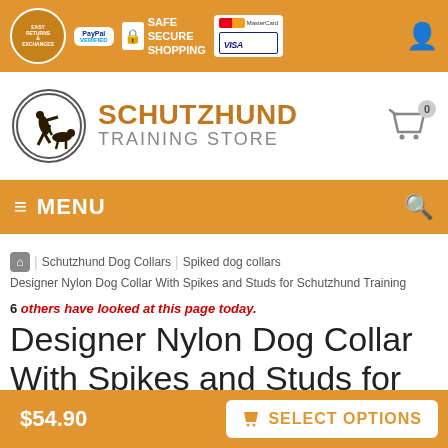[Figure (screenshot): Trust bar with Easy Returns badge, PayPal Verified badge, Safe Secure Shopping with lock icon, MasterCard and Visa logos, and user account icon]
[Figure (logo): Schutzhund Training Store logo with circular emblem showing handler and dog silhouette]
[Figure (screenshot): Orange menu navigation bar with hamburger menu icon, MENU label, and search icon]
Schutzhund Dog Collars | Spiked dog collars | Designer Nylon Dog Collar With Spikes and Studs for Schutzhund Training
6 others have looked at this page today.
Designer Nylon Dog Collar With Spikes and Studs for
$54.90
SELECT OPTIONS